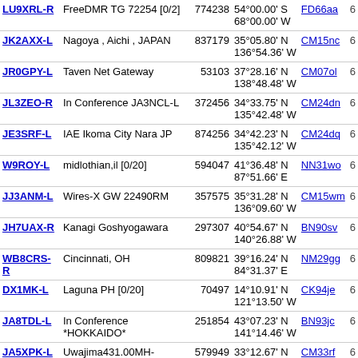| Callsign | Description | Freq | Coordinates | Grid |  |
| --- | --- | --- | --- | --- | --- |
| LU9XRL-R | FreeDMR TG 72254 [0/2] | 774238 | 54°00.00' S 68°00.00' W | FD66aa | 6 |
| JK2AXX-L | Nagoya , Aichi , JAPAN | 837179 | 35°05.80' N 136°54.36' W | CM15nc | 6 |
| JR0GPY-L | Taven Net Gateway | 53103 | 37°28.16' N 138°48.48' W | CM07ol | 6 |
| JL3ZEO-R | In Conference JA3NCL-L | 372456 | 34°33.75' N 135°42.48' W | CM24dn | 6 |
| JE3SRF-L | IAE Ikoma City Nara JP | 874256 | 34°42.23' N 135°42.12' W | CM24dq | 6 |
| W9ROY-L | midlothian,il [0/20] | 594047 | 41°36.48' N 87°51.66' E | NN31wo | 6 |
| JJ3ANM-L | Wires-X GW 22490RM | 357575 | 35°31.28' N 136°09.60' W | CM15wm | 6 |
| JH7UAX-R | Kanagi Goshyogawara | 297307 | 40°54.67' N 140°26.88' W | BN90sv | 6 |
| WB8CRS-R | Cincinnati, OH | 809821 | 39°16.24' N 84°31.37' E | NM29gg | 6 |
| DX1MK-L | Laguna PH [0/20] | 70497 | 14°10.91' N 121°13.50' W | CK94je | 6 |
| JA8TDL-L | In Conference *HOKKAIDO* | 251854 | 43°07.23' N 141°14.46' W | BN93jc | 6 |
| JA5XPK-L | Uwajima431.00MH-T100Hz | 579949 | 33°12.67' N 132°32.58' W | CM33rf | 6 |
| DX1ARC-L | Manila, Philippines [0/20] | 930778 | 14°26.67' N 120°59.64' W | CK94mk | 6 |
| DX1RSD-L | TG515032, Philippines | 749485 | 14°26.67' N | CK94mk | 6 |